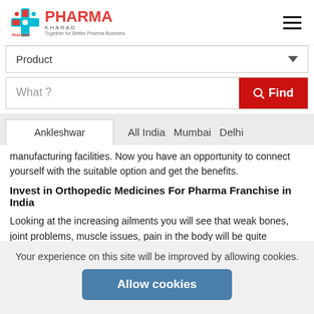[Figure (logo): PharmaKharid logo with medical cross icon and text 'Together for Better Pharma Business']
Product
What ?
Ankleshwar   All India   Mumbai   Delhi
manufacturing facilities. Now you have an opportunity to connect yourself with the suitable option and get the benefits.
Invest in Orthopedic Medicines For Pharma Franchise in India
Looking at the increasing ailments you will see that weak bones, joint problems, muscle issues, pain in the body will be quite common especially with the aging population. These medicines have become household medicines where everyone has ortho medicines made available  at home. The demand for these medicines is very frequent and you will enjoy a good
Your experience on this site will be improved by allowing cookies.
Allow cookies